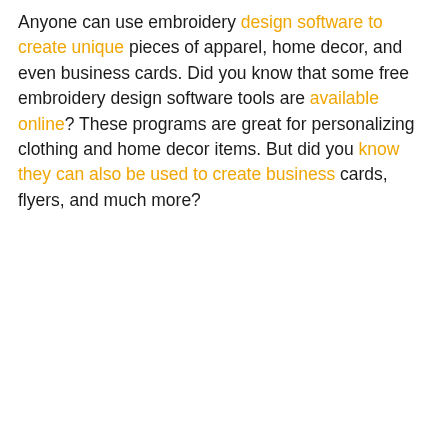Anyone can use embroidery design software to create unique pieces of apparel, home decor, and even business cards. Did you know that some free embroidery design software tools are available online? These programs are great for personalizing clothing and home decor items. But did you know they can also be used to create business cards, flyers, and much more?